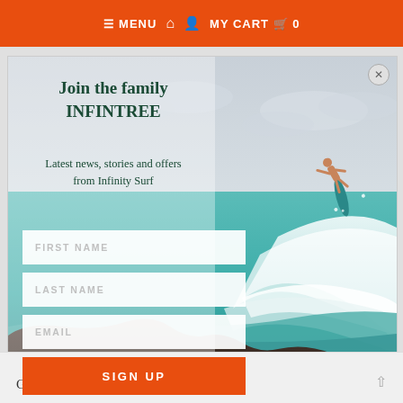≡ MENU  🏠  👤  MY CART  🛒  0
[Figure (screenshot): Popup modal with surf background image showing a surfer jumping off a wave with rocks in the foreground. Light blue/grey ocean and sky. Modal contains a newsletter signup form with fields for first name, last name, email and a sign up button.]
Join the family INFINTREE
Latest news, stories and offers from Infinity Surf
FIRST NAME
LAST NAME
EMAIL
SIGN UP
Global Partners